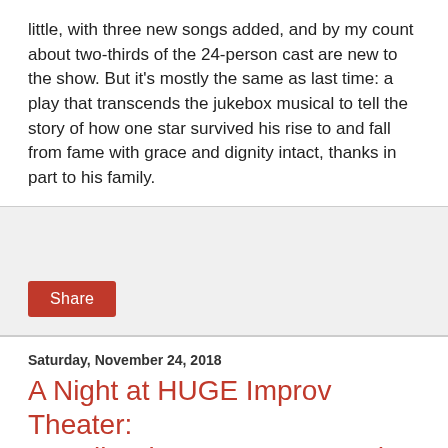little, with three new songs added, and by my count about two-thirds of the 24-person cast are new to the show. But it's mostly the same as last time: a play that transcends the jukebox musical to tell the story of how one star survived his rise to and fall from fame with grace and dignity intact, thanks in part to his family.
Share
Saturday, November 24, 2018
A Night at HUGE Improv Theater: "Family Dinner," KINGS, and the Bearded Company's "Chronicles"
[Figure (illustration): Poster for 'Family Dinner' created by M. Ritchie, showing the title in bold black letters on an orange/yellow background]